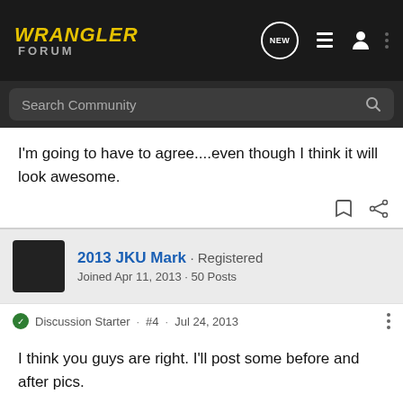WRANGLER FORUM
Search Community
I'm going to have to agree....even though I think it will look awesome.
2013 JKU Mark · Registered
Joined Apr 11, 2013 · 50 Posts
Discussion Starter · #4 · Jul 24, 2013
I think you guys are right. I'll post some before and after pics.

Thanks for the reply.